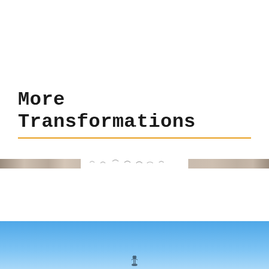More Transformations
[Figure (photo): A partial view showing horizontal decorative photo strips with birds silhouettes in the middle section, and a bottom photo strip showing a blue sky gradient with a small figure silhouette at the bottom.]